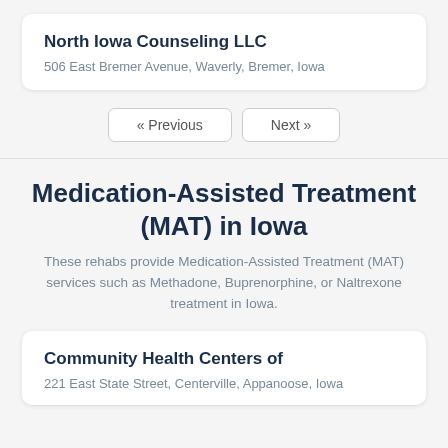North Iowa Counseling LLC
506 East Bremer Avenue, Waverly, Bremer, Iowa
« Previous   Next »
Medication-Assisted Treatment (MAT) in Iowa
These rehabs provide Medication-Assisted Treatment (MAT) services such as Methadone, Buprenorphine, or Naltrexone treatment in Iowa.
Community Health Centers of
221 East State Street, Centerville, Appanoose, Iowa